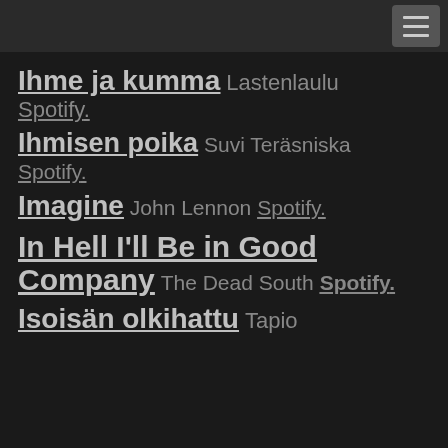Ihme ja kumma  Lastenlaulu
Spotify.
Ihmisen poika  Suvi Teräsniska
Spotify.
Imagine  John Lennon  Spotify.
In Hell I'll Be in Good Company  The Dead South  Spotify.
Isoisän olkihattu  Tapio